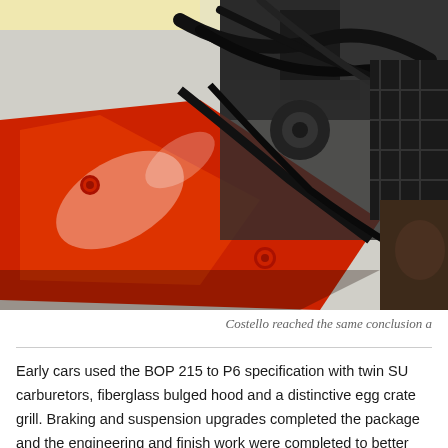[Figure (photo): Close-up photograph of a classic car engine bay showing a red painted engine block or frame rail in the foreground with black cables/wires and engine components visible in the background. The engine appears to be from a vintage British sports car.]
Costello reached the same conclusion a
Early cars used the BOP 215 to P6 specification with twin SU carburetors, fiberglass bulged hood and a distinctive egg crate grill. Braking and suspension upgrades completed the package and the engineering and finish work were completed to better